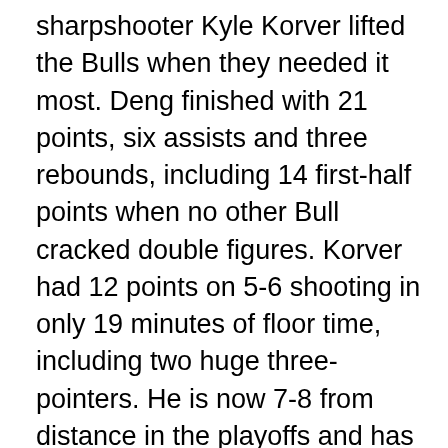sharpshooter Kyle Korver lifted the Bulls when they needed it most. Deng finished with 21 points, six assists and three rebounds, including 14 first-half points when no other Bull cracked double figures. Korver had 12 points on 5-6 shooting in only 19 minutes of floor time, including two huge three-pointers. He is now 7-8 from distance in the playoffs and has elevated his game at precisely the right time.